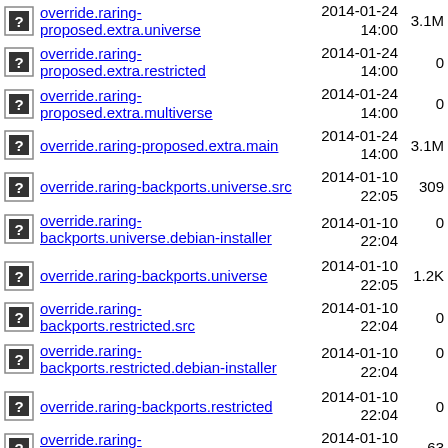override.raring-proposed.extra.universe  2014-01-24 14:00  3.1M
override.raring-proposed.extra.restricted  2014-01-24 14:00  0
override.raring-proposed.extra.multiverse  2014-01-24 14:00  0
override.raring-proposed.extra.main  2014-01-24 14:00  3.1M
override.raring-backports.universe.src  2014-01-10 22:05  309
override.raring-backports.universe.debian-installer  2014-01-10 22:04  0
override.raring-backports.universe  2014-01-10 22:05  1.2K
override.raring-backports.restricted.src  2014-01-10 22:04  0
override.raring-backports.restricted.debian-installer  2014-01-10 22:04  0
override.raring-backports.restricted  2014-01-10 22:04  0
override.raring-backports.multiverse.src  2014-01-10 22:05  63
override.raring-  2014-01-10